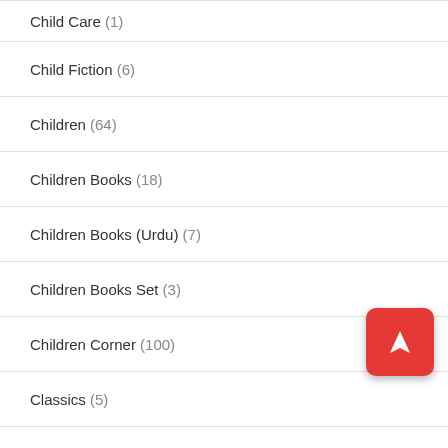Child Care (1)
Child Fiction (6)
Children (64)
Children Books (18)
Children Books (Urdu) (7)
Children Books Set (3)
Children Corner (100)
Classics (5)
Comic/Friendship Books (8)
Communications (1)